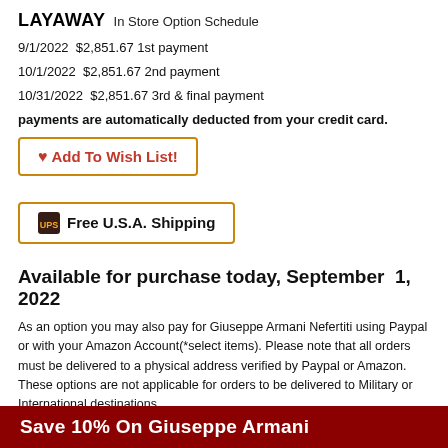LAYAWAY In Store Option Schedule
9/1/2022  $2,851.67 1st payment
10/1/2022  $2,851.67 2nd payment
10/31/2022  $2,851.67 3rd & final payment
payments are automatically deducted from your credit card.
Add To Wish List!
Free U.S.A. Shipping
Available for purchase today, September  1, 2022
As an option you may also pay for Giuseppe Armani Nefertiti using Paypal or with your Amazon Account(*select items). Please note that all orders must be delivered to a physical address verified by Paypal or Amazon. These options are not applicable for orders to be delivered to Military or International destinations.
For Military APO/FPO orders please use our standard checkout. For International Delivery, please click on the International Shipping Icon to see the landed cost to your country. No Sales Tax Except In The State Of Florida.
Save 10% On Giuseppe Armani